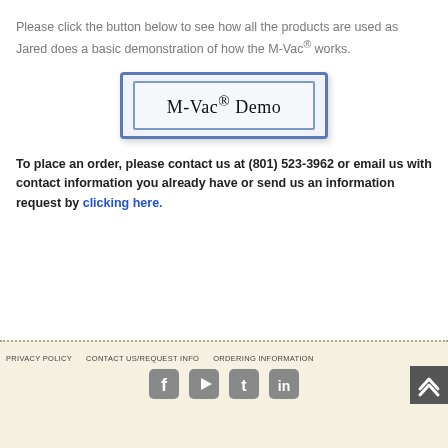Please click the button below to see how all the products are used as Jared does a basic demonstration of how the M-Vac® works.
[Figure (other): A clickable button styled with blue border labeled 'M-Vac® Demo']
To place an order, please contact us at (801) 523-3962 or email us with contact information you already have or send us an information request by clicking here.
PRIVACY POLICY   CONTACT US/REQUEST INFO   ORDERING INFORMATION